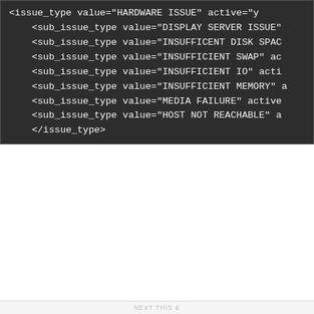[Figure (screenshot): Dark-themed code block showing XML snippet with issue_type and sub_issue_type elements including HARDWARE ISSUE, DISPLAY SERVER ISSUE, INSUFFICIENT DISK SPACE, INSUFFICIENT SWAP, INSUFFICIENT IO, INSUFFICIENT MEMORY, MEDIA FAILURE, HOST NOT REACHABLE, and closing issue_type tag]
Privacy & Cookies: This site uses cookies. By continuing to use this website, you agree to their use.
To find out more, including how to control cookies, see here:
Cookie Policy
Close and accept